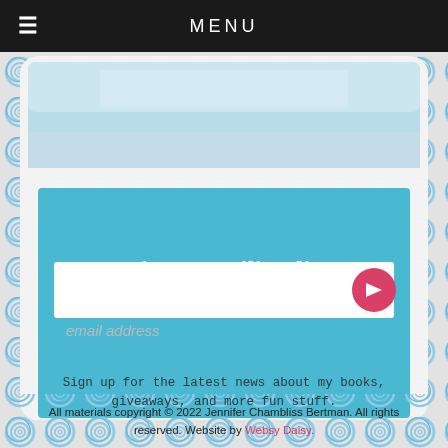≡  MENU
[Figure (screenshot): Top portion of a webpage showing a partially visible header image with light blue/teal tones]
Join my mailing list:
email address
Sign up for the latest news about my books, giveaways, and more fun stuff.
All materials copyright © 2022 Jennifer Chambliss Bertman. All rights reserved. Website by Websy Daisy.